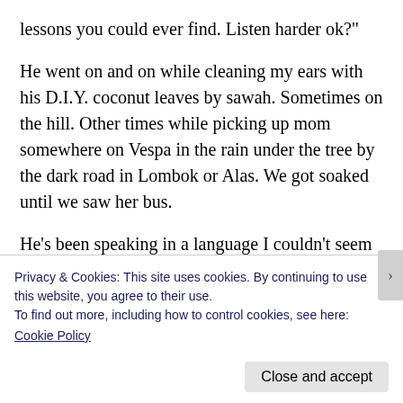lessons you could ever find. Listen harder ok?"
He went on and on while cleaning my ears with his D.I.Y. coconut leaves by sawah. Sometimes on the hill. Other times while picking up mom somewhere on Vespa in the rain under the tree by the dark road in Lombok or Alas. We got soaked until we saw her bus.
He's been speaking in a language I couldn't seem to understand. As a kid, I'd usually nod it off but today, I see it much clearer. In my world where home could mean a bag I carry wherever I go with everything I need
Privacy & Cookies: This site uses cookies. By continuing to use this website, you agree to their use.
To find out more, including how to control cookies, see here:
Cookie Policy
Close and accept